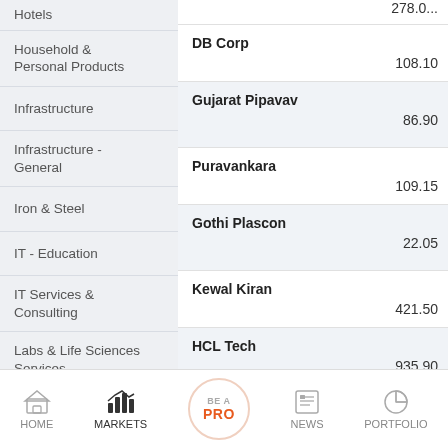Hotels
Household & Personal Products
Infrastructure
Infrastructure - General
Iron & Steel
IT - Education
IT Services & Consulting
Labs & Life Sciences Services
| Company | Value |
| --- | --- |
|  | 278.0... |
| DB Corp | 108.10 |
| Gujarat Pipavav | 86.90 |
| Puravankara | 109.15 |
| Gothi Plascon | 22.05 |
| Kewal Kiran | 421.50 |
| HCL Tech | 935.90 |
HOME   MARKETS   BE A PRO   NEWS   PORTFOLIO